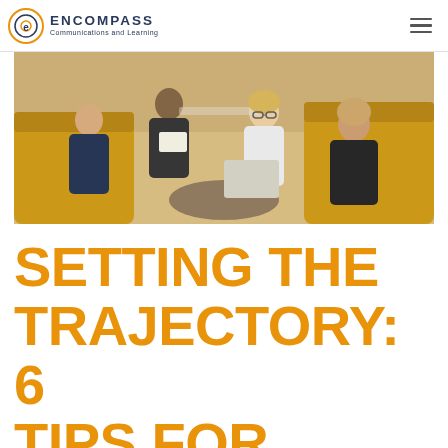ENCOMPASS Communications and Learning
[Figure (photo): Overhead view of four business professionals sitting on yellow/mustard sofas in a modern office lounge, reviewing documents together. Two men and two women, one wearing glasses and a white turtleneck, another in a navy suit.]
SETTING THE TRAJECTORY: 6 TIPS FOR SUCCESSFUL TRAINING